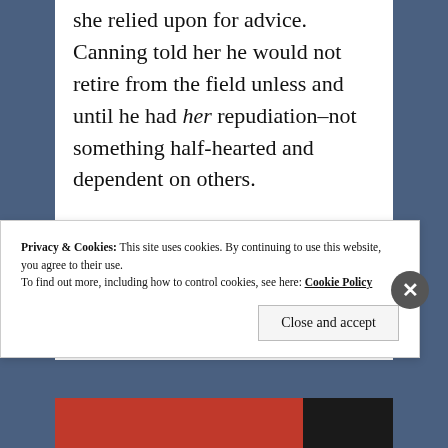she relied upon for advice. Canning told her he would not retire from the field unless and until he had her repudiation–not something halfhearted and dependent on others.

She would remain 'an object so dear to me.'
Privacy & Cookies: This site uses cookies. By continuing to use this website, you agree to their use. To find out more, including how to control cookies, see here: Cookie Policy
Close and accept